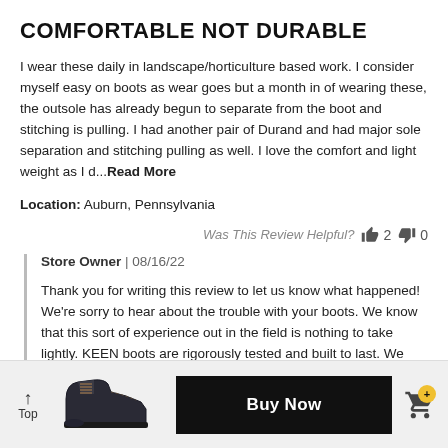COMFORTABLE NOT DURABLE
I wear these daily in landscape/horticulture based work. I consider myself easy on boots as wear goes but a month in of wearing these, the outsole has already begun to separate from the boot and stitching is pulling. I had another pair of Durand and had major sole separation and stitching pulling as well. I love the comfort and light weight as I d...Read More
Location: Auburn, Pennsylvania
Was This Review Helpful? 👍 2 👎 0
Store Owner | 08/16/22
Thank you for writing this review to let us know what happened! We're sorry to hear about the trouble with your boots. We know that this sort of experience out in the field is nothing to take lightly. KEEN boots are rigorously tested and built to last. We stand behind that quality through a
[Figure (photo): Brown hiking boots product image]
Buy Now